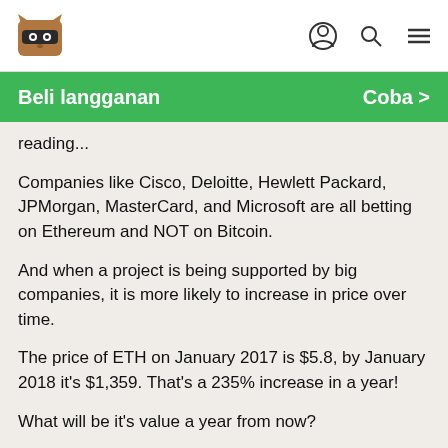Beli langganan   Coba >
reading...
Companies like Cisco, Deloitte, Hewlett Packard, JPMorgan, MasterCard, and Microsoft are all betting on Ethereum and NOT on Bitcoin.
And when a project is being supported by big companies, it is more likely to increase in price over time.
The price of ETH on January 2017 is $5.8, by January 2018 it's $1,359. That's a 235% increase in a year!
What will be it's value a year from now?
Would you let yourself be left behind AGAIN?